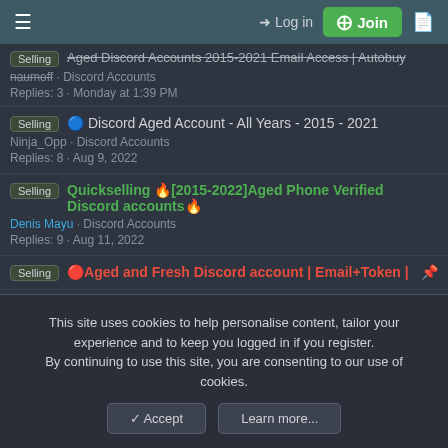Log in | Join
Selling | Aged Discord Accounts 2015-2021 Email Access | Autobuy | naumoff · Discord Accounts | Replies: 3 · Monday at 1:39 PM
Selling | 🔵 Discord Aged Account - All Years - 2015 - 2021 | Ninja_Opp · Discord Accounts | Replies: 8 · Aug 9, 2022
Selling | Quickselling 🔥[2015-2022]Aged Phone Verified Discord accounts🔥 | Denis Mayu · Discord Accounts | Replies: 9 · Aug 11, 2022
Selling | 🔴Aged and Fresh Discord account | Email+Token |
This site uses cookies to help personalise content, tailor your experience and to keep you logged in if you register. By continuing to use this site, you are consenting to our use of cookies.
✓ Accept | Learn more...